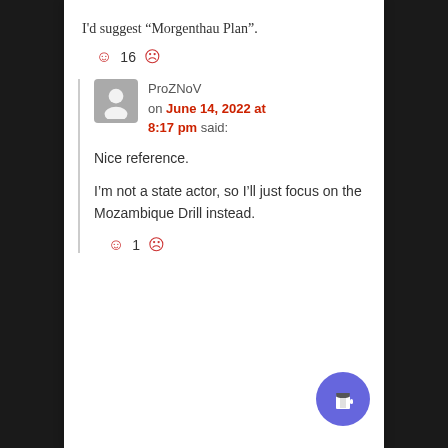I'd suggest “Morgenthau Plan”.
☺ 16 ☹
ProZNoV on June 14, 2022 at 8:17 pm said:
Nice reference.
I’m not a state actor, so I’ll just focus on the Mozambique Drill instead.
☺ 1 ☹